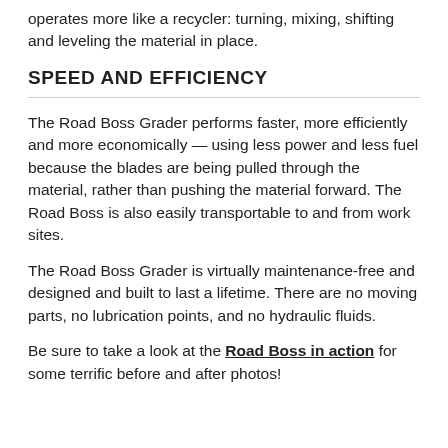operates more like a recycler: turning, mixing, shifting and leveling the material in place.
SPEED AND EFFICIENCY
The Road Boss Grader performs faster, more efficiently and more economically — using less power and less fuel because the blades are being pulled through the material, rather than pushing the material forward. The Road Boss is also easily transportable to and from work sites.
The Road Boss Grader is virtually maintenance-free and designed and built to last a lifetime. There are no moving parts, no lubrication points, and no hydraulic fluids.
Be sure to take a look at the Road Boss in action for some terrific before and after photos!